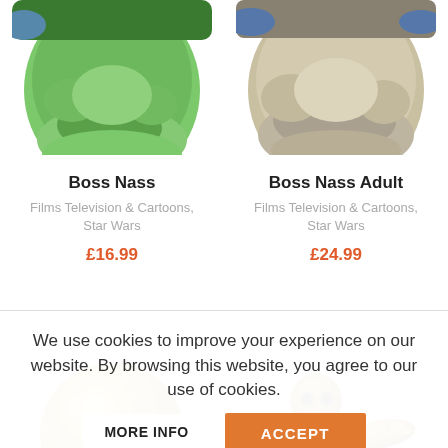[Figure (photo): Cropped top of a green alien face (Boss Nass) character mask/costume]
[Figure (photo): Cropped top of a cream/beige alien face (Boss Nass Adult) character mask/costume]
Boss Nass
Films Television & Cartoons, Star Wars
£16.99
Boss Nass Adult
Films Television & Cartoons, Star Wars
£24.99
[Figure (photo): Gold orb/helmet product image partially shown]
[Figure (photo): C-3PO costume partially shown]
We use cookies to improve your experience on our website. By browsing this website, you agree to our use of cookies.
MORE INFO
ACCEPT